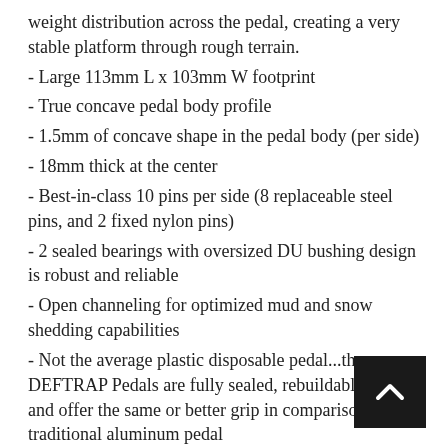weight distribution across the pedal, creating a very stable platform through rough terrain.
- Large 113mm L x 103mm W footprint
- True concave pedal body profile
- 1.5mm of concave shape in the pedal body (per side)
- 18mm thick at the center
- Best-in-class 10 pins per side (8 replaceable steel pins, and 2 fixed nylon pins)
- 2 sealed bearings with oversized DU bushing design is robust and reliable
- Open channeling for optimized mud and snow shedding capabilities
- Not the average plastic disposable pedal...the DEFTRAP Pedals are fully sealed, rebuildable, thin, and offer the same or better grip in comparison to a traditional aluminum pedal
- Brilliant design for all types of riding (Trail, Enduro, Downhill, Dirt Jumping, Commuting)
- 391 grams per pair